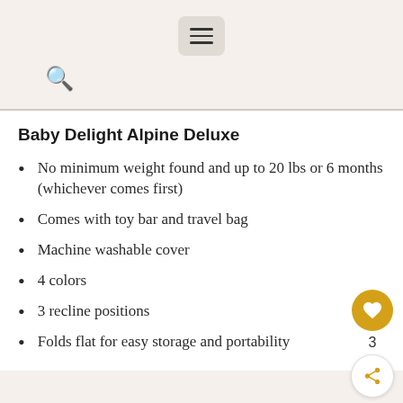[Figure (other): Hamburger menu button (three horizontal lines) on a rounded grey background]
[Figure (other): Search icon (magnifying glass)]
Baby Delight Alpine Deluxe
No minimum weight found and up to 20 lbs or 6 months (whichever comes first)
Comes with toy bar and travel bag
Machine washable cover
4 colors
3 recline positions
Folds flat for easy storage and portability